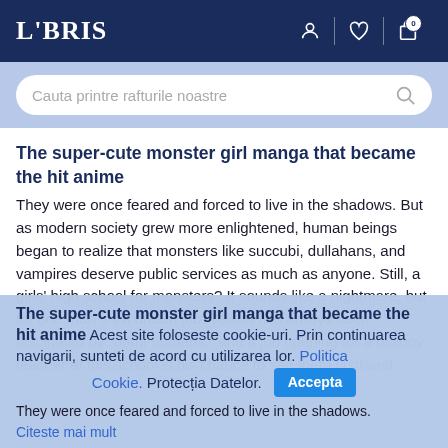LIBRIS
Cauta printre rafturile noastre
The super-cute monster girl manga that became the hit anime
They were once feared and forced to live in the shadows. But as modern society grew more enlightened, human beings began to realize that monsters like succubi, dullahans, and vampires deserve public services as much as anyone. Still, a girls' high school for monsters? It sounds like a nightmare, but for one man it's a dream job. Tetsuo has always been fascinated by "demi-humans," and a job opening for a biology teacher at this school is his chance to see them firsthand
The super-cute monster girl manga that became the hit anime
Acest site foloseste cookie-uri. Prin continuarea navigarii, sunteti de acord cu utilizarea lor. Politica Cookie. Protectia Datelor.
They were once feared and forced to live in the shadows.
Citeste mai mult